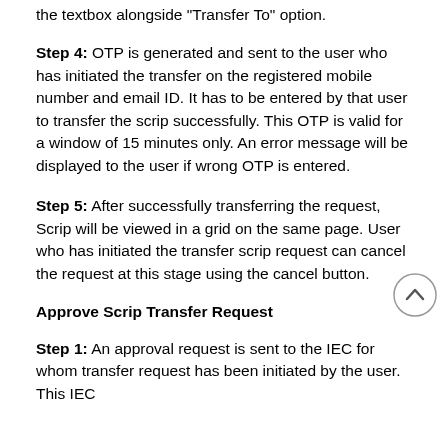the textbox alongside “Transfer To” option.
Step 4: OTP is generated and sent to the user who has initiated the transfer on the registered mobile number and email ID. It has to be entered by that user to transfer the scrip successfully. This OTP is valid for a window of 15 minutes only. An error message will be displayed to the user if wrong OTP is entered.
Step 5: After successfully transferring the request, Scrip will be viewed in a grid on the same page. User who has initiated the transfer scrip request can cancel the request at this stage using the cancel button.
Approve Scrip Transfer Request
Step 1: An approval request is sent to the IEC for whom transfer request has been initiated by the user. This IEC